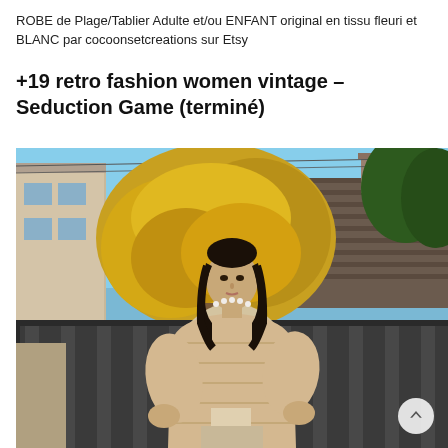ROBE de Plage/Tablier Adulte et/ou ENFANT original en tissu fleuri et BLANC par cocoonsetcreations sur Etsy
+19 retro fashion women vintage – Seduction Game (terminé)
[Figure (photo): A young woman with long dark hair wearing a beige puffer jacket and beige crop top with a pearl necklace, standing in front of a dark metal fence with an autumn yellow tree and rooftops in the background.]